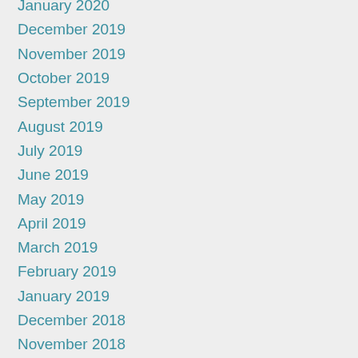January 2020
December 2019
November 2019
October 2019
September 2019
August 2019
July 2019
June 2019
May 2019
April 2019
March 2019
February 2019
January 2019
December 2018
November 2018
October 2018
September 2018
August 2018
July 2018
June 2018
May 2018
April 2018